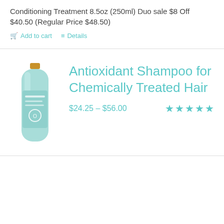Conditioning Treatment 8.5oz (250ml) Duo sale $8 Off $40.50 (Regular Price $48.50)
Add to cart   Details
Antioxidant Shampoo for Chemically Treated Hair
$24.25 – $56.00